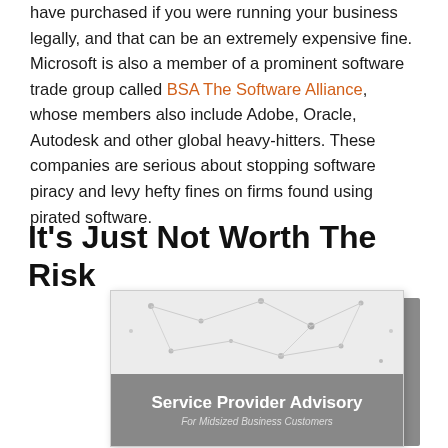have purchased if you were running your business legally, and that can be an extremely expensive fine. Microsoft is also a member of a prominent software trade group called BSA The Software Alliance, whose members also include Adobe, Oracle, Autodesk and other global heavy-hitters. These companies are serious about stopping software piracy and levy hefty fines on firms found using pirated software.
It's Just Not Worth The Risk
[Figure (photo): Book cover image showing 'Service Provider Advisory For Midsized Business Customers' with a grey cover featuring network dot pattern design and a darker grey label band at the bottom.]